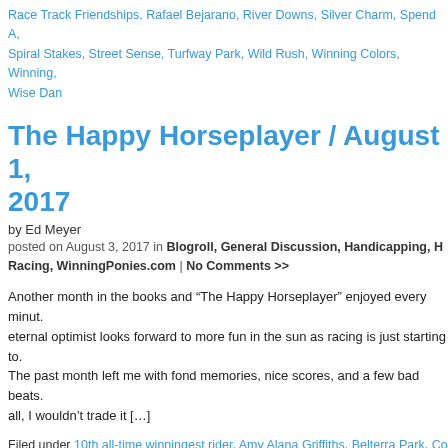Race Track Friendships, Rafael Bejarano, River Downs, Silver Charm, Spend A, Spiral Stakes, Street Sense, Turfway Park, Wild Rush, Winning Colors, Winning, Wise Dan
The Happy Horseplayer / August 1, 2017
by Ed Meyer
posted on August 3, 2017 in Blogroll, General Discussion, Handicapping, H, Racing, WinningPonies.com | No Comments >>
Another month in the books and “The Happy Horseplayer” enjoyed every minut. eternal optimist looks forward to more fun in the sun as racing is just starting to. The past month left me with fond memories, nice scores, and a few bad beats. all, I wouldn’t trade it […]
Filed under 10th all-time winningest rider, Amy Alana Griffiths, Belterra Park, Co Photography, Cory Orm, Ed Meyer, Girvin, Jorge Velasquez, Kettle Corn, Magg McCracken, Monmouth Park, Mystee Jonker, Perry Ouzts, Perry Ouzts Day, So Boot, Seabiscuit, Silverdollardreams, The Happy Horseplayer, The Haskell Invi Thom Amoss, Tough Beats, War Admiral, Winning Ponies
Ironman – Perry Ouzts